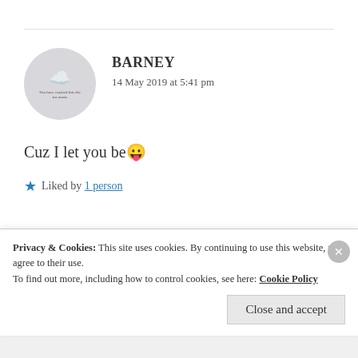BARNEY
14 May 2019 at 5:41 pm
Cuz I let you be 😛
Liked by 1 person
ZEALOUS HOMO SAPIENS
Privacy & Cookies: This site uses cookies. By continuing to use this website, you agree to their use.
To find out more, including how to control cookies, see here: Cookie Policy
Close and accept